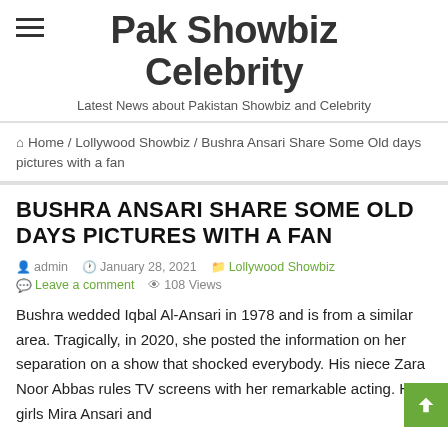Pak Showbiz Celebrity
Latest News about Pakistan Showbiz and Celebrity
Home / Lollywood Showbiz / Bushra Ansari Share Some Old days pictures with a fan
BUSHRA ANSARI SHARE SOME OLD DAYS PICTURES WITH A FAN
admin  January 28, 2021  Lollywood Showbiz  Leave a comment  108 Views
Bushra wedded Iqbal Al-Ansari in 1978 and is from a similar area. Tragically, in 2020, she posted the information on her separation on a show that shocked everybody. His niece Zara Noor Abbas rules TV screens with her remarkable acting. His girls Mira Ansari and